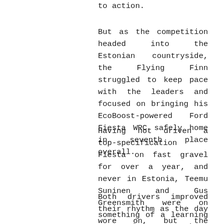to action.
But as the competition headed into the Estonian countryside, the Flying Finn struggled to keep pace with the leaders and focused on bringing his EcoBoost-powered Ford Fiesta WRC safely home in seventh place overall.
Having not driven a top-specification Fiesta on fast gravel for over a year, and never in Estonia, Teemu Suninen and Gus Greensmith were on something of a learning curve when compared to their more seasoned rivals.
Both drivers improved their rhythm as the day wore on, but the blisteringly fast nature of the Estonian stages demand